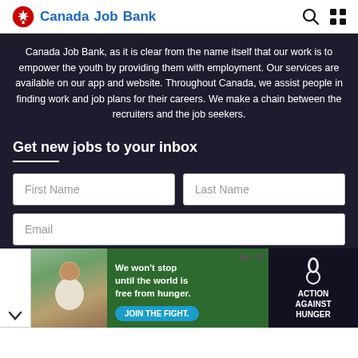Canada Job Bank
Canada Job Bank, as it is clear from the name itself that our work is to empower the youth by providing them with employment. Our services are available on our app and website. Throughout Canada, we assist people in finding work and job plans for their careers. We make a chain between the recruiters and the job seekers.
Get new jobs to your inbox
First Name
Last Name
Email
[Figure (screenshot): Action Against Hunger advertisement banner showing a child, text 'We won't stop until the world is free from hunger.' with a Join the Fight button and Action Against Hunger logo]